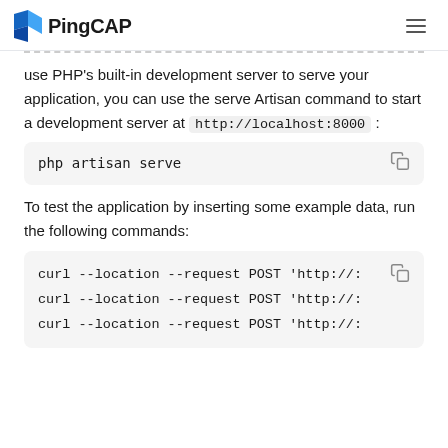PingCAP
use PHP's built-in development server to serve your application, you can use the serve Artisan command to start a development server at http://localhost:8000 :
php artisan serve
To test the application by inserting some example data, run the following commands:
curl --location --request POST 'http://...
curl --location --request POST 'http://...
curl --location --request POST 'http://...